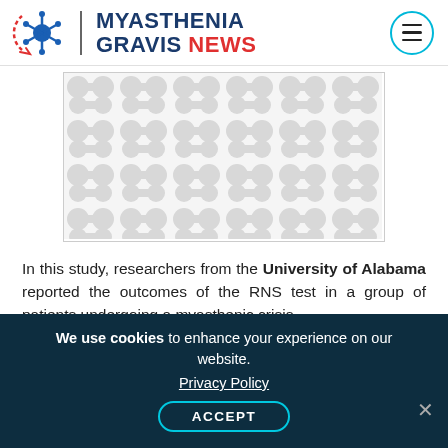MYASTHENIA GRAVIS NEWS
[Figure (illustration): Decorative placeholder image with a repeating pattern of light grey connected cell-like shapes on a white background, bordered by a thin grey rectangle.]
In this study, researchers from the University of Alabama reported the outcomes of the RNS test in a group of patients undergoing a myasthenic crisis.
We use cookies to enhance your experience on our website. Privacy Policy ACCEPT